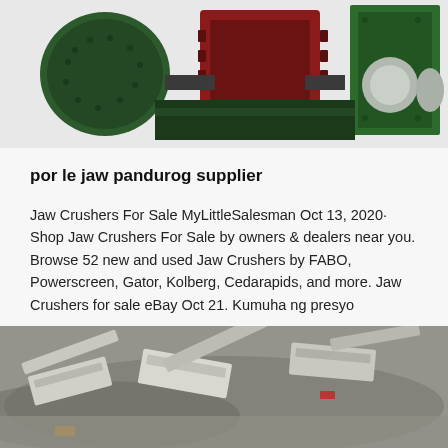[Figure (photo): Industrial jaw crusher machine, green colored, with motor and gears visible, on white/light background.]
por le jaw pandurog supplier
Jaw Crushers For Sale MyLittleSalesman Oct 13, 2020· Shop Jaw Crushers For Sale by owners & dealers near you. Browse 52 new and used Jaw Crushers by FABO, Powerscreen, Gator, Kolberg, Cedarapids, and more. Jaw Crushers for sale eBay Oct 21. Kumuha ng presyo
[Figure (photo): Multiple jaw crusher machines seen from above, dusty gray environment, industrial quarry setting.]